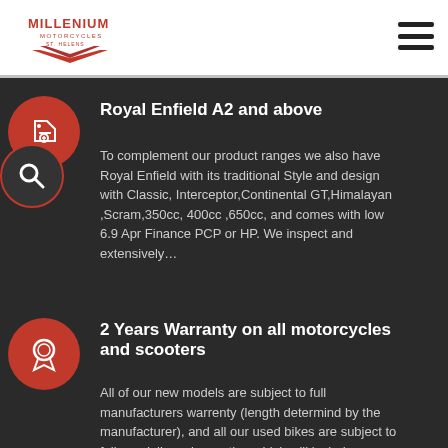Millenium Motorcycles
Royal Enfield A2 and above
To complement our product ranges we also have Royal Enfield with its traditional Style and design with Classic, Interceptor,Continental GT,Himalayan ,Scram,350cc, 400cc ,650cc, and comes with low 6.9 Apr Finance PCP or HP. We inspect and extensively…
2 Years Warranty on all motorcycles and scooters
All of our new models are subject to full manufacturers warrenty (length determind by the manufacturer), and all our used bikes are subject to full pre delivery inspection which will include replacement parts for anything which isnt deemed to be of t…